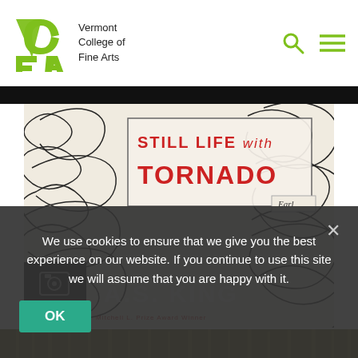[Figure (logo): Vermont College of Fine Arts logo — green VCFA monogram with text 'Vermont College of Fine Arts']
[Figure (screenshot): Book cover of 'Still Life with Tornado' by A.S. King — black scribble art on cream background with red title text and white author name]
[Figure (photo): Outdoor winter landscape with bare trees and yellowish grass, partially visible]
We use cookies to ensure that we give you the best experience on our website. If you continue to use this site we will assume that you are happy with it.